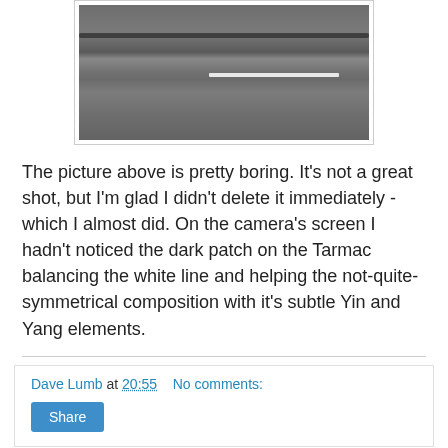[Figure (photo): Photo of dark tarmac/asphalt surface with a dark streak across the top and a white painted line on the right side center]
The picture above is pretty boring. It's not a great shot, but I'm glad I didn't delete it immediately - which I almost did. On the camera's screen I hadn't noticed the dark patch on the Tarmac balancing the white line and helping the not-quite-symmetrical composition with it's subtle Yin and Yang elements.
Dave Lumb at 20:55    No comments:
Share
Wednesday, 15 May 2013